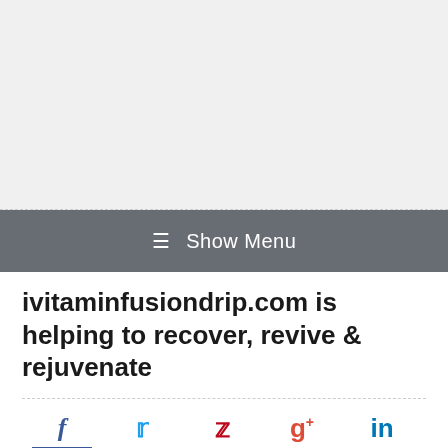[Figure (other): Gray advertisement/placeholder area at top of page]
≡ Show Menu
ivitaminfusiondrip.com is helping to recover, revive & rejuvenate
[Figure (other): Social sharing icons row: Facebook (f), Twitter (bird), Pinterest (p), Google+ (g+), LinkedIn (in), with colored underlines and a scroll-to-top arrow]